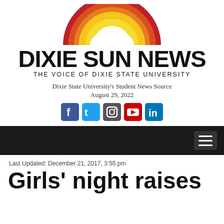[Figure (logo): Dixie Sun News logo with rainbow arc above bold text DIXIE SUN NEWS and tagline THE VOICE OF DIXIE STATE UNIVERSITY]
Dixie State University's Student News Source
August 29, 2022
[Figure (illustration): Row of five social media icons: Facebook, Twitter, Instagram, YouTube, LinkedIn]
Last Updated: December 21, 2017, 3:55 pm
Girls' night raises